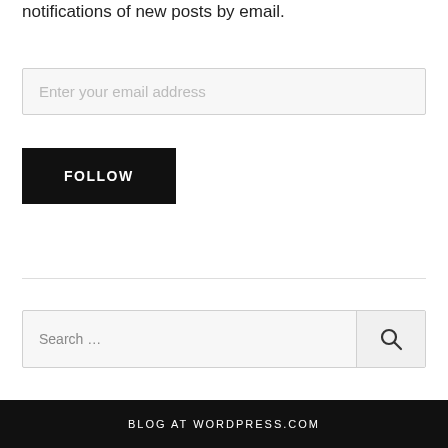notifications of new posts by email.
Enter your email address
FOLLOW
Search …
BLOG AT WORDPRESS.COM